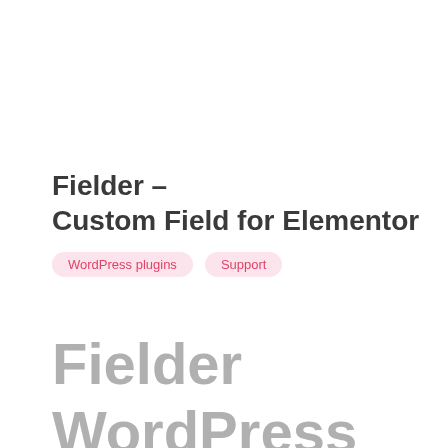Fielder – Custom Field for Elementor
WordPress plugins
Support
Fielder WordPress plugin for